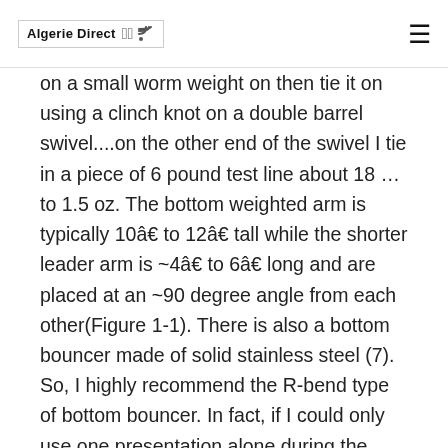Algerie Direct
on a small worm weight on then tie it on using a clinch knot on a double barrel swivel....on the other end of the swivel I tie in a piece of 6 pound test line about 18 … to 1.5 oz. The bottom weighted arm is typically 10â to 12â tall while the shorter leader arm is ~4â to 6â long and are placed at an ~90 degree angle from each other(Figure 1-1). There is also a bottom bouncer made of solid stainless steel (7). So, I highly recommend the R-bend type of bottom bouncer. In fact, if I could only use one presentation alone during the month of July, it would be hard to beat a bottom bouncer teamed up with either a spinner harness or some type of rig. A key one is the design of the site where your main line attaches between the two arms. This bottom rig has a number 2 silver blade and a green squid hoochie skirt. D)